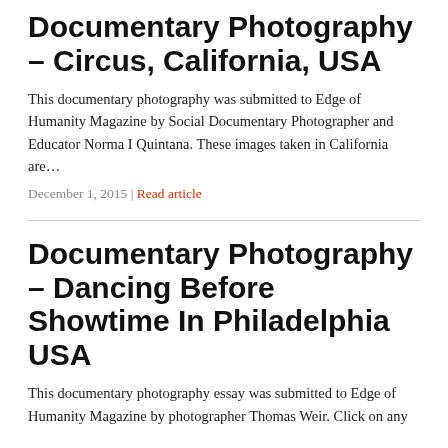Documentary Photography – Circus, California, USA
This documentary photography was submitted to Edge of Humanity Magazine by Social Documentary Photographer and Educator Norma I Quintana.   These images taken in California are…
December 1, 2015 | Read article
Documentary Photography – Dancing Before Showtime In Philadelphia USA
This documentary photography essay was submitted to Edge of Humanity Magazine by photographer Thomas Weir.    Click on any